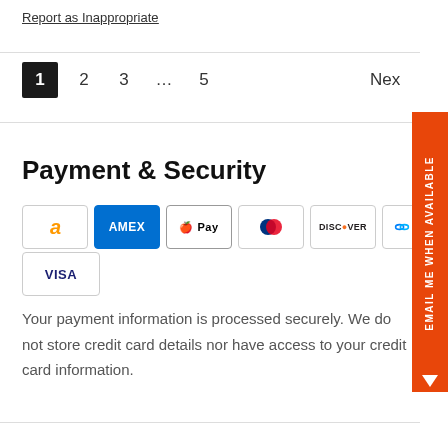Report as Inappropriate
1 2 3 … 5 Next
Payment & Security
[Figure (logo): Payment method logos: Amazon, Amex, Apple Pay, Diners, Discover, Meta, Google Pay, Mastercard, OP, Visa]
Your payment information is processed securely. We do not store credit card details nor have access to your credit card information.